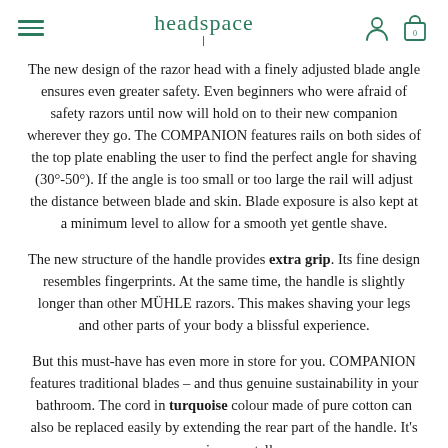headspace
The new design of the razor head with a finely adjusted blade angle ensures even greater safety. Even beginners who were afraid of safety razors until now will hold on to their new companion wherever they go. The COMPANION features rails on both sides of the top plate enabling the user to find the perfect angle for shaving (30°-50°). If the angle is too small or too large the rail will adjust the distance between blade and skin. Blade exposure is also kept at a minimum level to allow for a smooth yet gentle shave.
The new structure of the handle provides extra grip. Its fine design resembles fingerprints. At the same time, the handle is slightly longer than other MÜHLE razors. This makes shaving your legs and other parts of your body a blissful experience.
But this must-have has even more in store for you. COMPANION features traditional blades – and thus genuine sustainability in your bathroom. The cord in turquoise colour made of pure cotton can also be replaced easily by extending the rear part of the handle. It's an environmentally